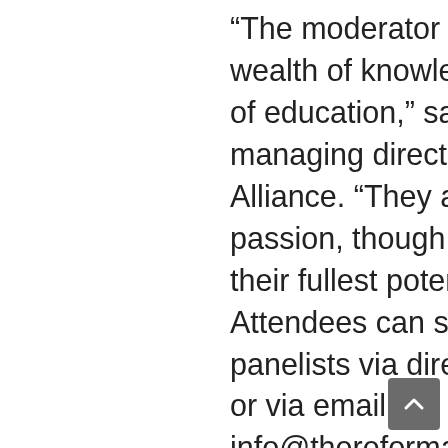“The moderator and panelists have a wealth of knowledge about different facets of education,” said Emmy Henley, managing director for The Reform Alliance. “They all share a common passion, though: helping students reach their fullest potential.”
Attendees can submit questions to the panelists via direct message on Facebook or via email to info@thereformalliance.org.
The Reform Alliance is a nonprofit organization dedicated to ensuring every K-12 student in Arkansas has equal access to a world-class education. The Reform Alliance is proud to manage the Succeed Scholarship at no cost to the State of Arkansas. Even small expenses like the cost of mailing checks to schools are paid for by a private foundation grant. Free educational resources and more information about The Reform Alliance are